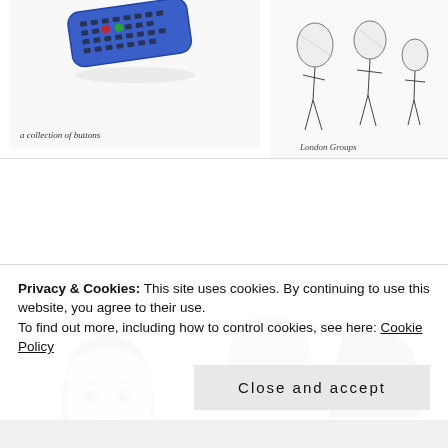[Figure (illustration): Sketch of a TV remote control labeled 'a collection of buttons']
[Figure (illustration): Pen and ink sketch of figures labeled 'London Groups']
[Figure (illustration): Detailed pencil portrait drawing of a woman's face and neck]
[Figure (illustration): Colored illustration of still life objects including a bottle, bowl, pills, and fabric]
[Figure (illustration): Partial pencil sketch of furniture/room interior]
[Figure (illustration): Partial illustration of a green object]
Privacy & Cookies: This site uses cookies. By continuing to use this website, you agree to their use.
To find out more, including how to control cookies, see here: Cookie Policy
Close and accept